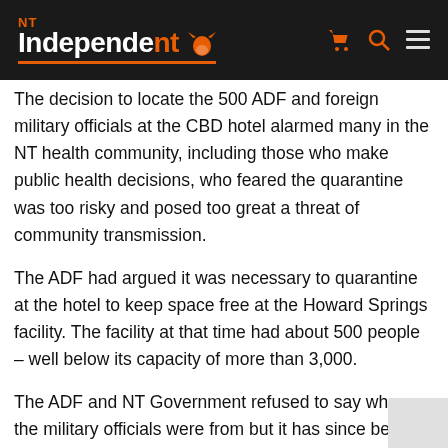NT Independent
The decision to locate the 500 ADF and foreign military officials at the CBD hotel alarmed many in the NT health community, including those who make public health decisions, who feared the quarantine was too risky and posed too great a threat of community transmission.
The ADF had argued it was necessary to quarantine at the hotel to keep space free at the Howard Springs facility. The facility at that time had about 500 people – well below its capacity of more than 3,000.
The ADF and NT Government refused to say where the military officials were from but it has since been...